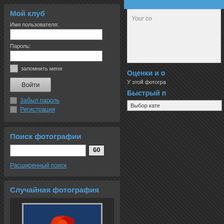Мой клуб
Имя пользователя:
Пароль:
запомнить меня
Войти
Забыл пароль
Регистрация
Поиск фотографии
GO
Расширенный поиск
Случайная фотография
[Figure (photo): Hand holding red object against blue background]
Your co
Оценки и о
У этой фотогра
Быстрый п
Выбор кате